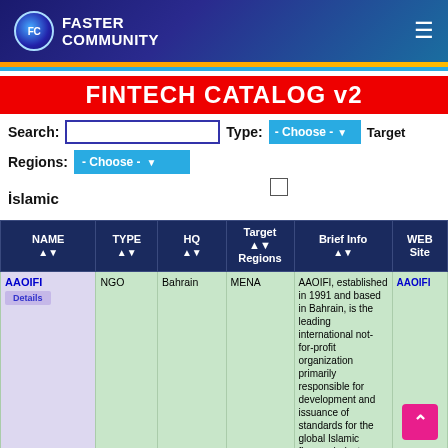FC FASTER COMMUNITY
FINTECH CATALOG v2
Search:  Type: - Choose -  Target  Regions: - Choose -
İslamic
Startup
Africa
| NAME | TYPE | HQ | Target Regions | Brief Info | WEB Site |
| --- | --- | --- | --- | --- | --- |
| AAOIFI
Details | NGO | Bahrain | MENA | AAOIFI, established in 1991 and based in Bahrain, is the leading international not-for-profit organization primarily responsible for development and issuance of standards for the global Islamic finance industry. | AAOIFI |